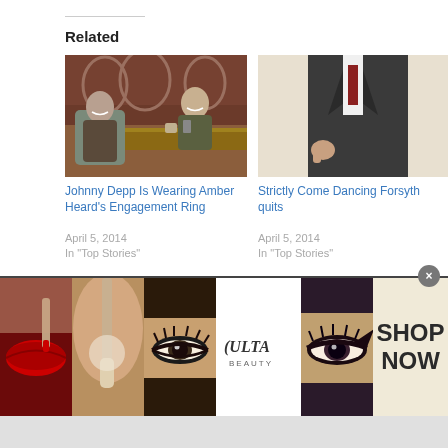Related
[Figure (photo): Two people sitting at a talk show desk laughing, indoor TV studio setting]
Johnny Depp Is Wearing Amber Heard's Engagement Ring
April 5, 2014
In "Top Stories"
[Figure (photo): Person in dark suit, partial body visible, white background]
Strictly Come Dancing Forsyth quits
April 5, 2014
In "Top Stories"
[Figure (photo): Australian flag with stars, partial image cropped at bottom]
[Figure (photo): ULTA Beauty advertisement banner showing makeup imagery with SHOP NOW call to action]